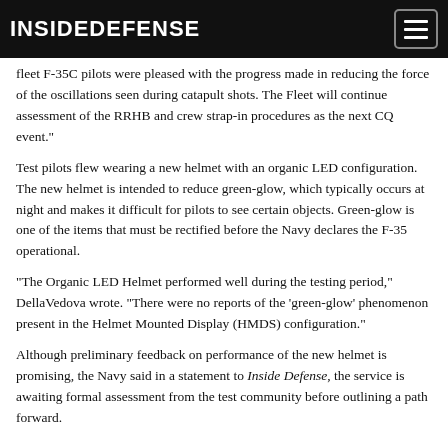INSIDEDEFENSE
fleet F-35C pilots were pleased with the progress made in reducing the force of the oscillations seen during catapult shots. The Fleet will continue assessment of the RRHB and crew strap-in procedures as the next CQ event."
Test pilots flew wearing a new helmet with an organic LED configuration. The new helmet is intended to reduce green-glow, which typically occurs at night and makes it difficult for pilots to see certain objects. Green-glow is one of the items that must be rectified before the Navy declares the F-35 operational.
"The Organic LED Helmet performed well during the testing period," DellaVedova wrote. "There were no reports of the 'green-glow' phenomenon present in the Helmet Mounted Display (HMDS) configuration."
Although preliminary feedback on performance of the new helmet is promising, the Navy said in a statement to Inside Defense, the service is awaiting formal assessment from the test community before outlining a path forward.